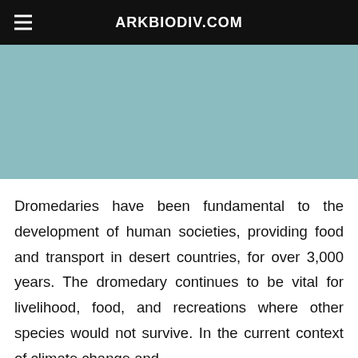ARKBIODIV.COM
[Figure (photo): Teal/muted blue-green photographic image area (image content not fully visible)]
Dromedaries have been fundamental to the development of human societies, providing food and transport in desert countries, for over 3,000 years. The dromedary continues to be vital for livelihood, food, and recreations where other species would not survive. In the current context of climate change and